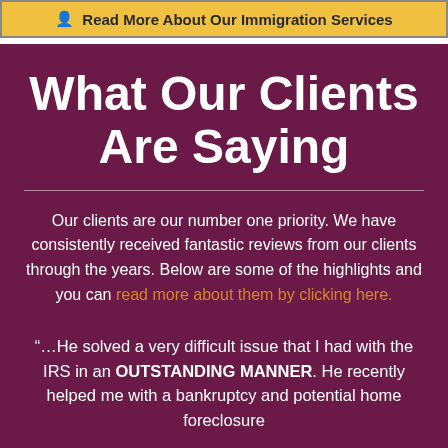Read More About Our Immigration Services
What Our Clients Are Saying
Our clients are our number one priority. We have consistently received fantastic reviews from our clients through the years. Below are some of the highlights and you can read more about them by clicking here.
“…He solved a very difficult issue that I had with the IRS in an OUTSTANDING MANNER. He recently helped me with a bankruptcy and potential home foreclosure